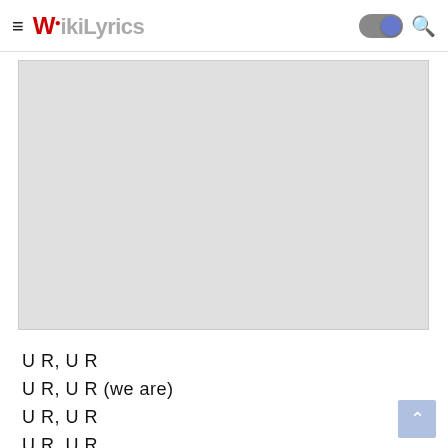WikiLyrics
[Figure (other): Gray placeholder advertisement or image box]
U R, U R
U R, U R (we are)
U R, U R
U R, U R